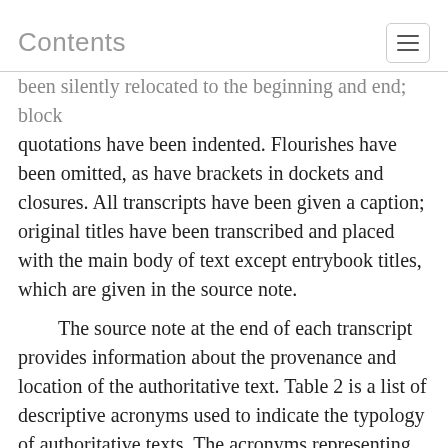Contents
been silently relocated to the beginning and end; block quotations have been indented. Flourishes have been omitted, as have brackets in dockets and closures. All transcripts have been given a caption; original titles have been transcribed and placed with the main body of text except entrybook titles, which are given in the source note.

The source note at the end of each transcript provides information about the provenance and location of the authoritative text. Table 2 is a list of descriptive acronyms used to indicate the typology of authoritative texts. The acronyms representing manuscript collections and archives are explained in the List of Abbreviations, above. (Pagination, folio, and volume descriptors have not been provided for any citations, unless required by the citation style recommended by the repository.) Where possible, the source note provides some clarification as to the